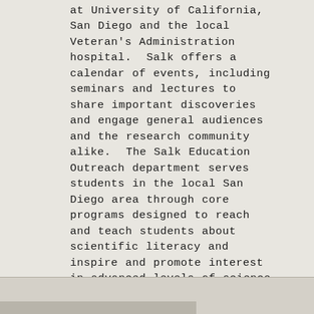at University of California, San Diego and the local Veteran's Administration hospital.  Salk offers a calendar of events, including seminars and lectures to share important discoveries and engage general audiences and the research community alike.  The Salk Education Outreach department serves students in the local San Diego area through core programs designed to reach and teach students about scientific literacy and inspire and promote interest in advanced levels of science instruction and science as a career.  From conquering cancer to creative initiatives to combat climate change, the Salk Institute for Biological Studies is committed to respecting and understanding science and the role of basic biological research in our world.